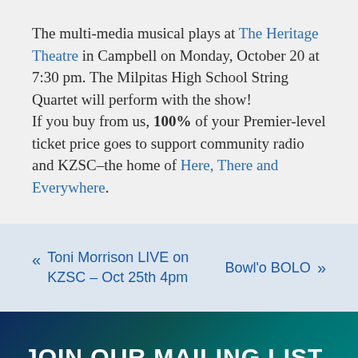The multi-media musical plays at The Heritage Theatre in Campbell on Monday, October 20 at 7:30 pm. The Milpitas High School String Quartet will perform with the show!
If you buy from us, 100% of your Premier-level ticket price goes to support community radio and KZSC–the home of Here, There and Everywhere.
« Toni Morrison LIVE on KZSC – Oct 25th 4pm
Bowl'o BOLO »
JOIN OUR MAILING LIST